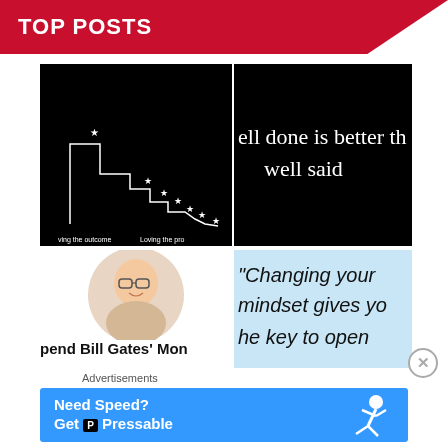TOP POSTS
[Figure (illustration): Black background image showing a staircase made of white star markers going upward, with x-axis labels 'Loving the outcome' and 'Loving the pro[cess]']
[Figure (illustration): Black background with white text: 'ell done is better th well said']
[Figure (photo): Circular portrait photo of Bill Gates smiling, wearing glasses and a light sweater]
pend Bill Gates' Mon
[Figure (illustration): Light blue background with large dark italic text: '"Changing your mindset gives yo he key to open']
Advertisements
[Figure (illustration): Blue advertisement banner: 'Need Speed? Get [P] Pressable' with a person flying/running illustration]